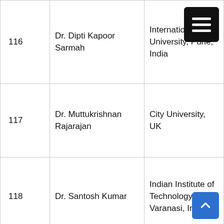| # | Name | Institution |
| --- | --- | --- |
| 116 | Dr. Dipti Kapoor Sarmah | ...International University, Pune, India |
| 117 | Dr. Muttukrishnan Rajarajan | City University, UK |
| 118 | Dr. Santosh Kumar | Indian Institute of Technology, Varanasi, India |
| 119 | Dr. Gaurav Bathla | Chandigarh University, India |
| 120 | Dr. Jyotsna Kumar Mandal | University of Kalyani, West Bengal, India |